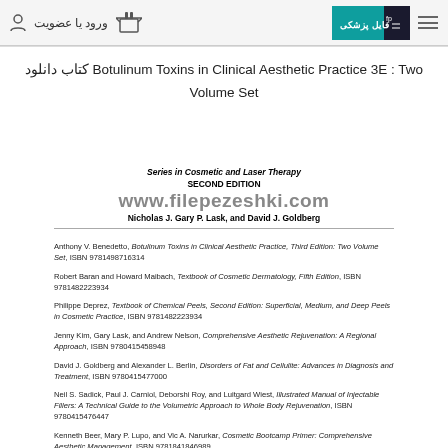ورود یا عضویت — filepezeshki.com logo — hamburger menu
دانلود کتاب Botulinum Toxins in Clinical Aesthetic Practice 3E : Two Volume Set
[Figure (screenshot): Book series page preview showing 'Series in Cosmetic and Laser Therapy' header, www.filepezeshki.com watermark, editors Nicholas J. Gary P. Lask, and David J. Goldberg, followed by a list of books in the series]
Anthony V. Benedetto, Botulinum Toxins in Clinical Aesthetic Practice, Third Edition: Two Volume Set, ISBN 9781498716314
Robert Baran and Howard Maibach, Textbook of Cosmetic Dermatology, Fifth Edition, ISBN 9781482223934
Philippe Deprez, Textbook of Chemical Peels, Second Edition: Superficial, Medium, and Deep Peels in Cosmetic Practice, ISBN 9781482223934
Jenny Kim, Gary Lask, and Andrew Nelson, Comprehensive Aesthetic Rejuvenation: A Regional Approach, ISBN 9780415458948
David J. Goldberg and Alexander L. Berlin, Disorders of Fat and Cellulite: Advances in Diagnosis and Treatment, ISBN 9780415477000
Neil S. Sadick, Paul J. Carniol, Deborshi Roy, and Luitgard Wiest, Illustrated Manual of Injectable Fillers: A Technical Guide to the Volumetric Approach to Whole Body Rejuvenation, ISBN 9780415476447
Kenneth Beer, Mary P. Lupo, and Vic A. Narurkar, Cosmetic Bootcamp Primer: Comprehensive Aesthetic Management, ISBN 9781841846989
Anthony Benedetto, Botulinum Toxins in Clinical Aesthetic Practice, Second